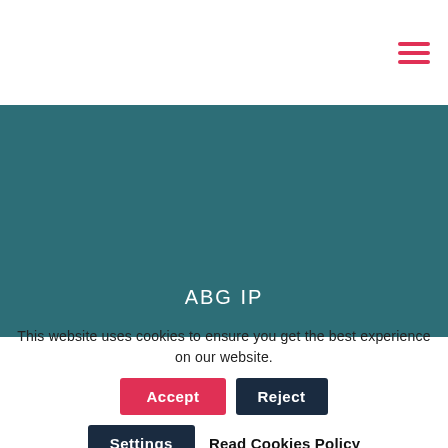[Figure (other): Hamburger menu icon with three horizontal red lines in top-right corner of white header]
[Figure (other): Teal/dark cyan hero banner background with ABG IP text centered near bottom]
ABG IP
This website uses cookies to ensure you get the best experience on our website.
Accept
Reject
Settings
Read Cookies Policy